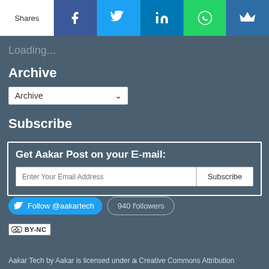[Figure (infographic): Social share bar with Shares label, Facebook, Twitter, LinkedIn, WhatsApp, and crown icon buttons]
Loading...
Archive
[Figure (screenshot): Archive dropdown selector widget]
Subscribe
Get Aakar Post on your E-mail:
[Figure (screenshot): Email subscription form with Enter Your Email Address input and Subscribe button]
[Figure (screenshot): Twitter follow button @aakartech with 940 followers badge]
[Figure (logo): Creative Commons BY-NC license badge]
Aakar Tech by Aakar is licensed under a Creative Commons Attribution